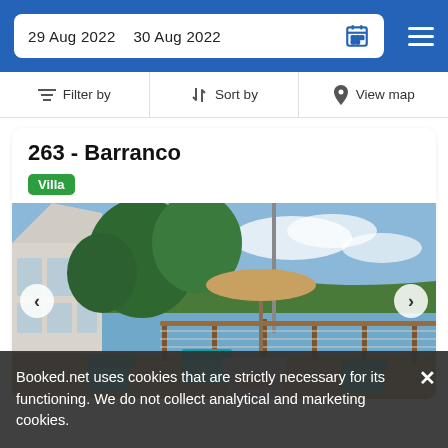29 Aug 2022  30 Aug 2022
Filter by  Sort by  View map
263 - Barranco
Villa
[Figure (photo): Outdoor deck of a waterfront villa with teal Adirondack chairs, fire pit, umbrella, and a scenic view of a large body of water with trees in the background.]
Booked.net uses cookies that are strictly necessary for its functioning. We do not collect analytical and marketing cookies.